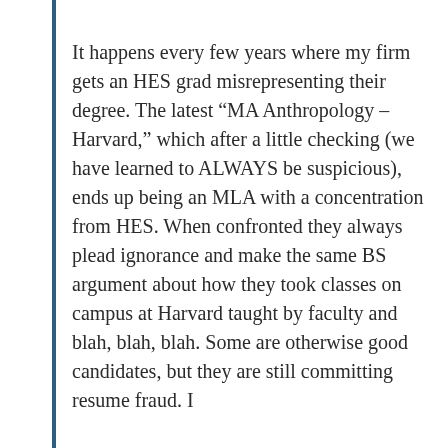It happens every few years where my firm gets an HES grad misrepresenting their degree. The latest “MA Anthropology – Harvard,” which after a little checking (we have learned to ALWAYS be suspicious), ends up being an MLA with a concentration from HES. When confronted they always plead ignorance and make the same BS argument about how they took classes on campus at Harvard taught by faculty and blah, blah, blah. Some are otherwise good candidates, but they are still committing resume fraud. I